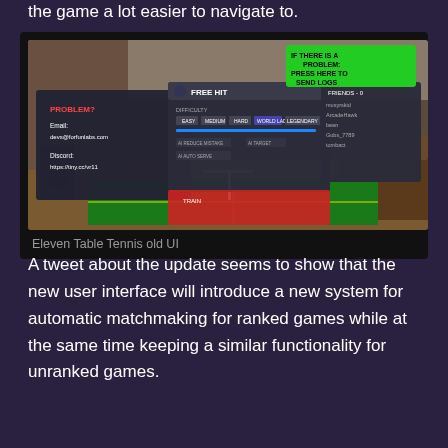the game a lot easier to navigate to.
[Figure (screenshot): Screenshot of Eleven Table Tennis old UI showing game menus including Free Hit difficulty settings, Problem panel with email devs@forfunlabs.com and Discord https://tiny.cc/vr11, Friends panel, and a green button saying IF THERE IS A PROBLEM PRESS HERE TO SEND LOGS. A table tennis table is visible in the background.]
Eleven Table Tennis old UI
A tweet about the update seems to show that the new user interface will introduce a new system for automatic matchmaking for ranked games while at the same time keeping a similar functionality for unranked games.